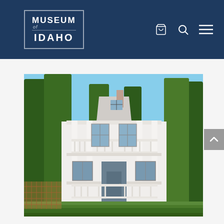Museum of Idaho — website header with logo and navigation icons
[Figure (photo): Two-story white colonial-style house with large pillars supporting a covered front porch and upper balcony, surrounded by tall green trees under a blue sky. A white picket fence and brick steps are visible at the front.]